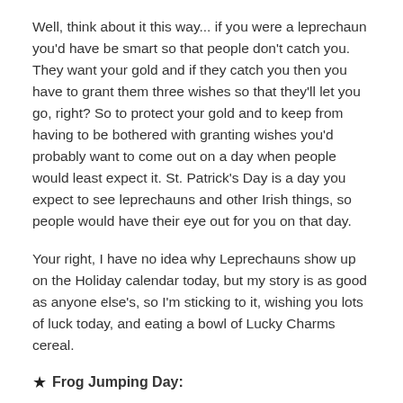Well, think about it this way... if you were a leprechaun you'd have be smart so that people don't catch you. They want your gold and if they catch you then you have to grant them three wishes so that they'll let you go, right? So to protect your gold and to keep from having to be bothered with granting wishes you'd probably want to come out on a day when people would least expect it. St. Patrick's Day is a day you expect to see leprechauns and other Irish things, so people would have their eye out for you on that day.
Your right, I have no idea why Leprechauns show up on the Holiday calendar today, but my story is as good as anyone else's, so I'm sticking to it, wishing you lots of luck today, and eating a bowl of Lucky Charms cereal.
★ Frog Jumping Day: